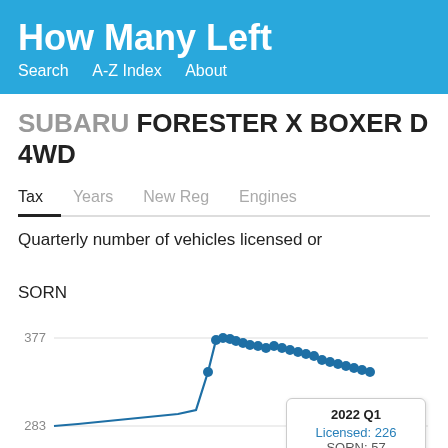How Many Left
SUBARU FORESTER X BOXER D 4WD
Quarterly number of vehicles licensed or SORN
[Figure (line-chart): Line chart showing quarterly count of licensed/SORN Subaru Forester X Boxer D 4WD vehicles. Y-axis shows 283 and 377. Data rises steeply to a peak around 377 then declines. Tooltip shows 2022 Q1: Licensed: 226, SORN: 57.]